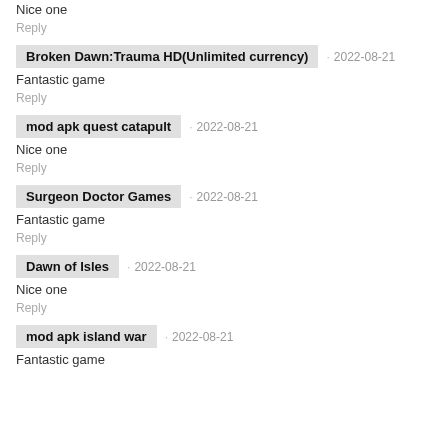Nice one
Reply
Broken Dawn:Trauma HD(Unlimited currency) · 2022-08-21
Fantastic game
Reply
mod apk quest catapult · 2022-08-21
Nice one
Reply
Surgeon Doctor Games · 2022-08-21
Fantastic game
Reply
Dawn of Isles · 2022-08-21
Nice one
Reply
mod apk island war · 2022-08-21
Fantastic game
Reply